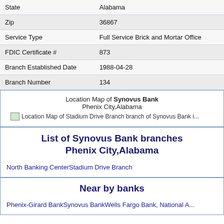| Field | Value |
| --- | --- |
| State | Alabama |
| Zip | 36867 |
| Service Type | Full Service Brick and Mortar Office |
| FDIC Certificate # | 873 |
| Branch Established Date | 1988-04-28 |
| Branch Number | 134 |
Location Map of Synovus Bank Phenix City,Alabama
[Figure (map): Location Map of Stadium Drive Branch branch of Synovus Bank in Phenix City, Alabama]
List of Synovus Bank branches Phenix City,Alabama
North Banking Center
Stadium Drive Branch
Near by banks
Phenix-Girard Bank
Synovus Bank
Wells Fargo Bank, National A...